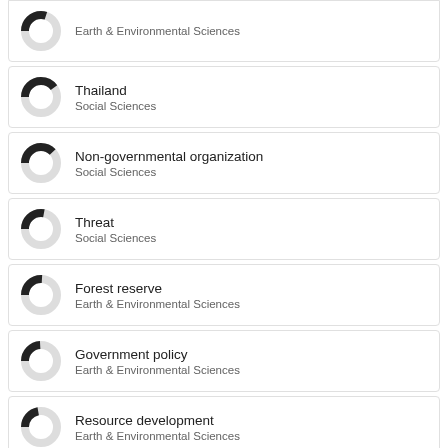Earth & Environmental Sciences
Thailand
Social Sciences
Non-governmental organization
Social Sciences
Threat
Social Sciences
Forest reserve
Earth & Environmental Sciences
Government policy
Earth & Environmental Sciences
Resource development
Earth & Environmental Sciences